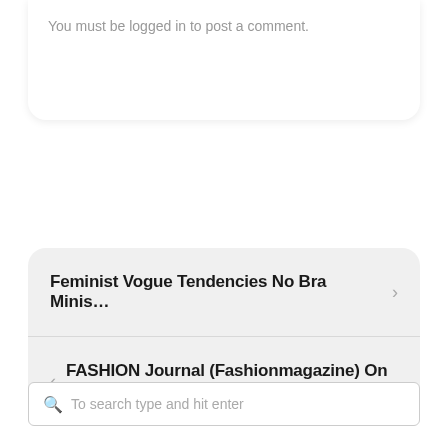You must be logged in to post a comment.
Feminist Vogue Tendencies No Bra Minis… >
< FASHION Journal (Fashionmagazine) On …
To search type and hit enter